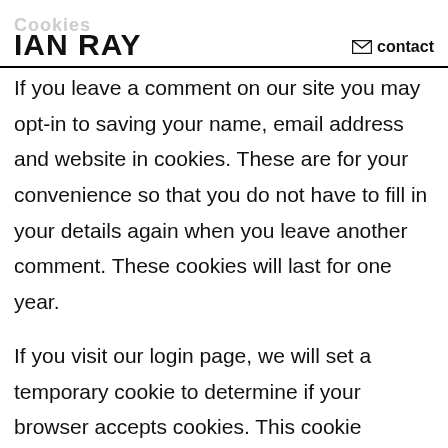Cookies IAN RAY contact
If you leave a comment on our site you may opt-in to saving your name, email address and website in cookies. These are for your convenience so that you do not have to fill in your details again when you leave another comment. These cookies will last for one year.
If you visit our login page, we will set a temporary cookie to determine if your browser accepts cookies. This cookie contains no personal data and is discarded when you close your browser.